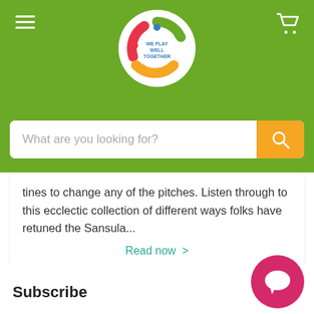[Figure (logo): We Play Well Together circular logo with colorful figures and green, red, blue, orange colors]
[Figure (screenshot): Search bar with placeholder text 'What are you looking for?' and orange search button]
tines to change any of the pitches. Listen through to this ecclectic collection of different ways folks have retuned the Sansula...
Read now >
Subscribe
[Figure (illustration): Pink/red circular chat bubble icon in bottom right corner]